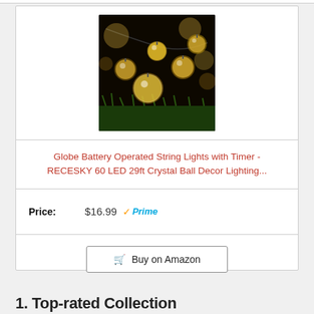[Figure (photo): Photo of crystal ball LED string lights glowing warm yellow-white, arranged on dark background with green grass at bottom.]
Globe Battery Operated String Lights with Timer - RECESKY 60 LED 29ft Crystal Ball Decor Lighting...
Price: $16.99 ✓Prime
Buy on Amazon
1. Top-rated Collection